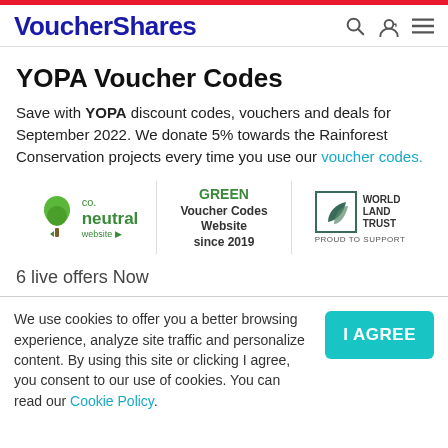VoucherShares
YOPA Voucher Codes
Save with YOPA discount codes, vouchers and deals for September 2022. We donate 5% towards the Rainforest Conservation projects every time you use our voucher codes.
[Figure (logo): Three badge logos: co. neutral website, GREEN Voucher Codes Website since 2019, World Land Trust PROUD TO SUPPORT]
6 live offers Now
We use cookies to offer you a better browsing experience, analyze site traffic and personalize content. By using this site or clicking I agree, you consent to our use of cookies. You can read our Cookie Policy.